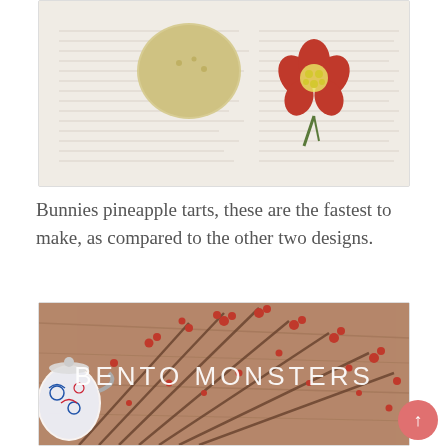[Figure (photo): Photo of pineapple tart bunnies on newspaper with a red flower decoration. A round dough ball and a red clay flower with yellow center are visible on white newspaper text background.]
Bunnies pineapple tarts, these are the fastest to make, as compared to the other two designs.
[Figure (photo): Photo with 'BENTO MONSTERS' text overlay in white. Background shows red plum blossom branches on a brown wooden surface, with a blue and white teapot partially visible on the left.]